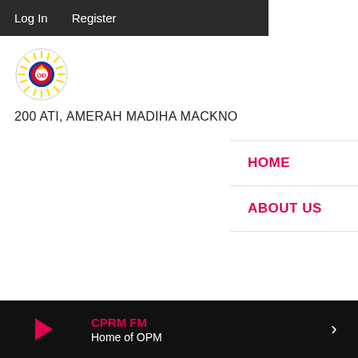Log In   Register
[Figure (logo): CPRM FM circular logo with Philippine sun and colors]
200 ATI, AMERAH MADIHA MACKNO
HOME
ABOUT US
CPRM FM  Home of OPM